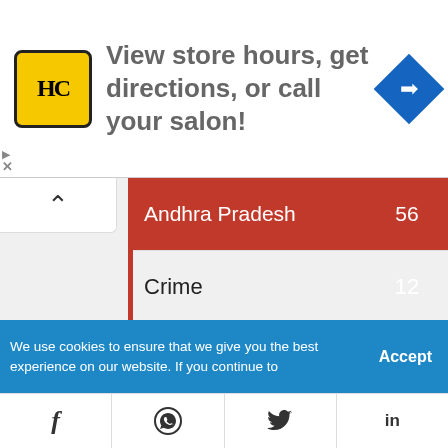[Figure (infographic): Advertisement banner: HC logo (yellow circle with HC text), text 'View store hours, get directions, or call your salon!', blue diamond navigation icon]
| Category | Count |
| --- | --- |
| Andhra Pradesh | 56 |
| Crime | 12 |
| India News | 107 |
| Telangana | 29 |
| World News | 30 |
| Sports | 56 |
| Technology | 43 |
We use cookies to ensure that we give you the best experience on our website. If you continue to
Accept
[Figure (infographic): Social share bar with icons: Facebook (f), WhatsApp, Twitter, LinkedIn]